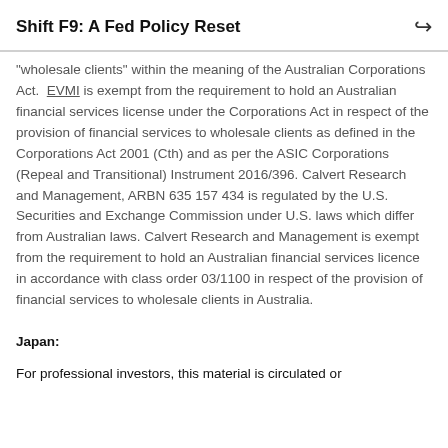Shift F9: A Fed Policy Reset
"wholesale clients" within the meaning of the Australian Corporations Act. EVMI is exempt from the requirement to hold an Australian financial services license under the Corporations Act in respect of the provision of financial services to wholesale clients as defined in the Corporations Act 2001 (Cth) and as per the ASIC Corporations (Repeal and Transitional) Instrument 2016/396. Calvert Research and Management, ARBN 635 157 434 is regulated by the U.S. Securities and Exchange Commission under U.S. laws which differ from Australian laws. Calvert Research and Management is exempt from the requirement to hold an Australian financial services licence in accordance with class order 03/1100 in respect of the provision of financial services to wholesale clients in Australia.
Japan:
For professional investors, this material is circulated or